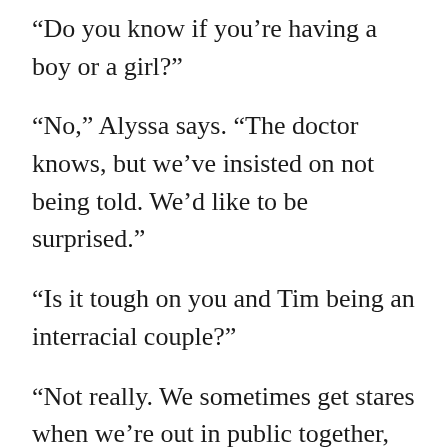“Do you know if you’re having a boy or a girl?”
“No,” Alyssa says. “The doctor knows, but we’ve insisted on not being told. We’d like to be surprised.”
“Is it tough on you and Tim being an interracial couple?”
“Not really. We sometimes get stares when we’re out in public together, but Atlanta’s a progressive city. Plus, we’re a formidable team.”
They focus on Steven and Abigail talking across the room.